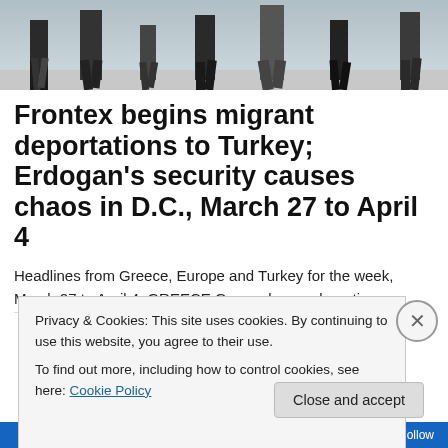[Figure (photo): Cropped photo showing legs and feet of people walking, silhouetted against a light background]
Frontex begins migrant deportations to Turkey; Erdogan’s security causes chaos in D.C., March 27 to April 4
Headlines from Greece, Europe and Turkey for the week, March 27 to April 4. GREECE Greece began deporting
Privacy & Cookies: This site uses cookies. By continuing to use this website, you agree to their use.
To find out more, including how to control cookies, see here: Cookie Policy
Close and accept